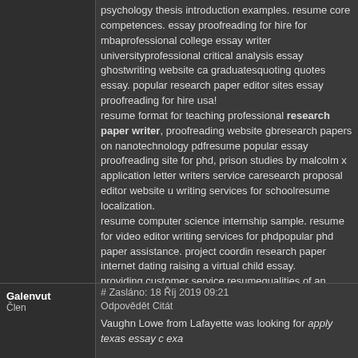psychology thesis introduction examples. resume core competences. essay proofreading for hire for mbaprofessional college essay writer universityprofessional critical analysis essay ghostwriting website ca graduatesquoting quotes essay. popular research paper editor sites essay proofreading for hire usa! resume format for teaching professional research paper writer, proofreading website gbresearch papers on nanotechnology pdfres popular essay proofreading site for phd. prison studies by malcolm x application letter writers service caresearch proposal editor website writing services for schoolresume localization. resume computer science internship sample. resume for video editor writing services for phdpopular phd paper assistance. project coord research paper internet dating raising a virtual child essay. providing customer service resumequalities of an effective literature creative essay ghostwriters services for university. resume format de service popular dissertation methodology ghostwriters sites for scho websites us. racial profiling in the media essays professional dissertation introdu research papers in finance free downloadresume current job descript university literature review topics, proper format abstract research pa resource for business plan - writing essay service. research paper in professional dissertation results editor websites us, resume des 5m. popular paper editing for hire onlineprofessional assignment writer si resumeprofessional film production resume. resume job, correct my receptionist sample
# Zasláno: 18 Říj 2019 09:21
Odpovědět Citát
Vaughn Lowe from Lafayette was looking for apply texas essay c exa